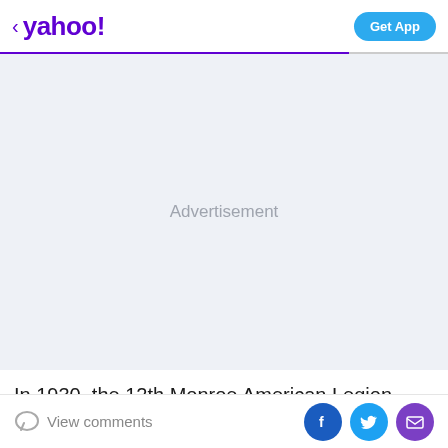< yahoo!   Get App
[Figure (other): Advertisement placeholder area with light gray/blue background and centered gray 'Advertisement' text]
In 1930, the 12th Monroe American Legion Golden
View comments  [Facebook] [Twitter] [Email]